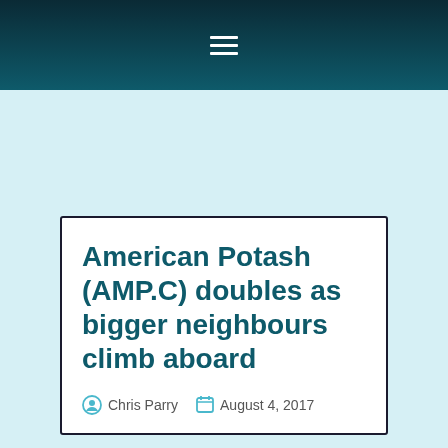≡
American Potash (AMP.C) doubles as bigger neighbours climb aboard
Chris Parry  August 4, 2017
In every area play, there are big players, small players,